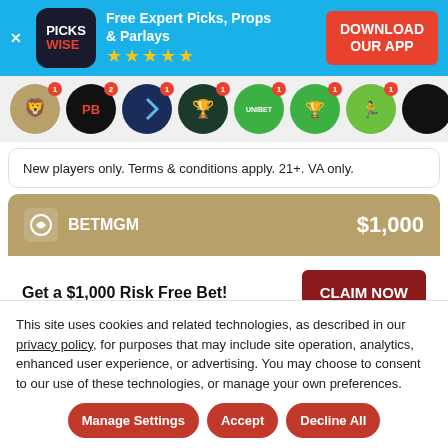[Figure (infographic): Pickswise app advertisement banner with logo, 5-star rating, and Download Our App CTA button]
[Figure (infographic): Row of sportsbook logo icons including BetMGM, PointsBet, and others with notification badges]
New players only. Terms & conditions apply. 21+. VA only.
[Figure (infographic): BetMGM card showing $1,000 bonus with CLAIM NOW button]
Get a $1,000 Risk Free Bet!
This site uses cookies and related technologies, as described in our privacy policy, for purposes that may include site operation, analytics, enhanced user experience, or advertising. You may choose to consent to our use of these technologies, or manage your own preferences.